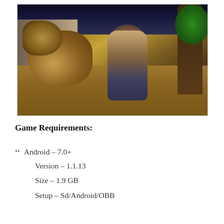[Figure (screenshot): A video game screenshot showing a large wolf and a warrior character in medieval fantasy armor holding a sword, set in an outdoor environment with dirt ground, wooden structures, trees, and other characters in the background under a dark sky with warm torch lighting.]
Game Requirements:
Android – 7.0+
Version – 1.1.13
Size – 1.9 GB
Setup – Sd/Android/OBB